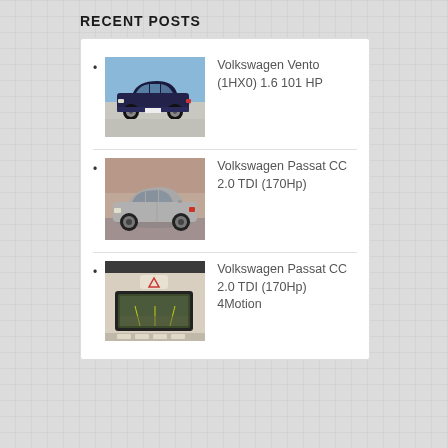RECENT POSTS
Volkswagen Vento (1HX0) 1.6 101 HP
Volkswagen Passat CC 2.0 TDI (170Hp)
Volkswagen Passat CC 2.0 TDI (170Hp) 4Motion